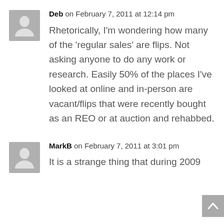Deb on February 7, 2011 at 12:14 pm
Rhetorically, I'm wondering how many of the 'regular sales' are flips. Not asking anyone to do any work or research. Easily 50% of the places I've looked at online and in-person are vacant/flips that were recently bought as an REO or at auction and rehabbed.
MarkB on February 7, 2011 at 3:01 pm
It is a strange thing that during 2009